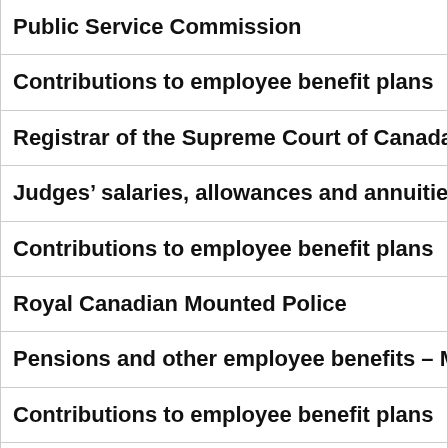| Public Service Commission |
| Contributions to employee benefit plans |
| Registrar of the Supreme Court of Canada |
| Judges' salaries, allowances and annuities |
| Contributions to employee benefit plans |
| Royal Canadian Mounted Police |
| Pensions and other employee benefits – M |
| Contributions to employee benefit plans |
| Pensions under the Royal Canadian Moun |
| Royal Canadian Mounted Police External R |